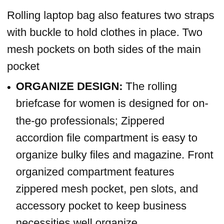Rolling laptop bag also features two straps with buckle to hold clothes in place. Two mesh pockets on both sides of the main pocket
ORGANIZE DESIGN: The rolling briefcase for women is designed for on-the-go professionals; Zippered accordion file compartment is easy to organize bulky files and magazine. Front organized compartment features zippered mesh pocket, pen slots, and accessory pocket to keep business necessities well organize
DURABLE DESIGN: Rolling laptop bag is made of high density ballistic nylon fabric with metal zippers and